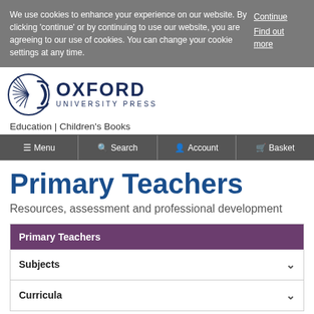We use cookies to enhance your experience on our website. By clicking 'continue' or by continuing to use our website, you are agreeing to our use of cookies. You can change your cookie settings at any time.
Continue
Find out more
[Figure (logo): Oxford University Press logo with stylized circular emblem and text OXFORD UNIVERSITY PRESS]
Education | Children's Books
≡ Menu   🔍 Search   👤 Account   🛒 Basket
Primary Teachers
Resources, assessment and professional development
Primary Teachers
Subjects
Curricula